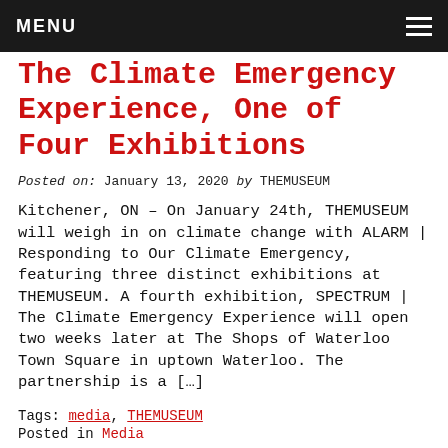MENU
The Climate Emergency Experience, One of Four Exhibitions
Posted on: January 13, 2020 by THEMUSEUM
Kitchener, ON – On January 24th, THEMUSEUM will weigh in on climate change with ALARM | Responding to Our Climate Emergency, featuring three distinct exhibitions at THEMUSEUM. A fourth exhibition, SPECTRUM | The Climate Emergency Experience will open two weeks later at The Shops of Waterloo Town Square in uptown Waterloo. The partnership is a […]
Tags: media, THEMUSEUM
Posted in Media